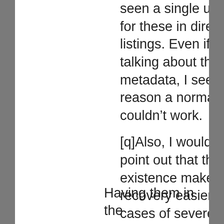seen a single use case for these in directory listings. Even if we are talking about the metadata, I see no reason a normal “stat” couldn’t work.
[q]Also, I would like to point out that their existence makes data recovery easier on cases of severe data corruption and disgraceful lack of proper backup.
Having them in the